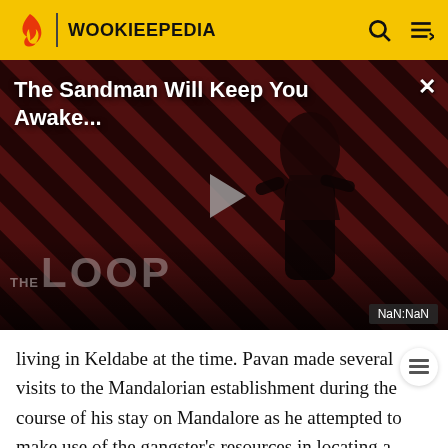WOOKIEEPEDIA
[Figure (screenshot): Video thumbnail for 'The Sandman Will Keep You Awake...' with a dark-clad figure against a red diagonal striped background. Shows a play button, 'THE LOOP' branding, and NaN:NaN timestamp. Close button (x) in top right.]
living in Keldabe at the time. Pavan made several visits to the Mandalorian establishment during the course of his stay on Mandalore as he attempted to make use of the gangster's resources in locating a friend who'd been captured by the Empire. During the last of these visits,